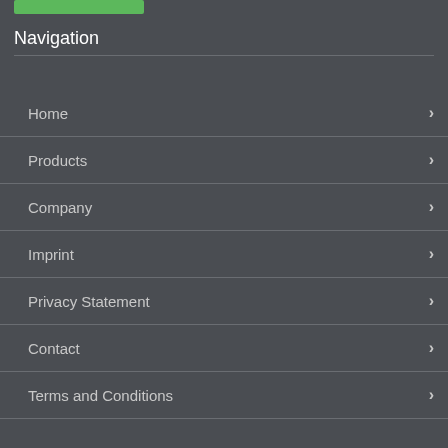[Figure (other): Green button/bar at top left]
Navigation
Home
Products
Company
Imprint
Privacy Statement
Contact
Terms and Conditions